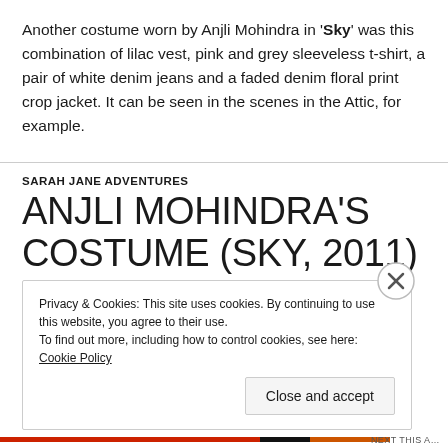Another costume worn by Anjli Mohindra in 'Sky' was this combination of lilac vest, pink and grey sleeveless t-shirt, a pair of white denim jeans and a faded denim floral print crop jacket. It can be seen in the scenes in the Attic, for example.
SARAH JANE ADVENTURES
ANJLI MOHINDRA'S COSTUME (SKY, 2011)
Privacy & Cookies: This site uses cookies. By continuing to use this website, you agree to their use. To find out more, including how to control cookies, see here: Cookie Policy